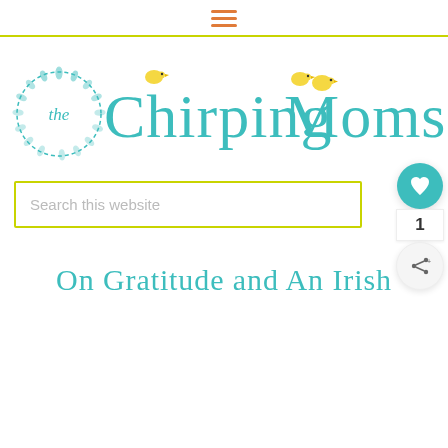≡ (hamburger menu icon)
[Figure (logo): The Chirping Moms logo with wreath circle containing 'the', teal text 'Chirping Moms', yellow bird illustrations]
Search this website
On Gratitude and An Irish